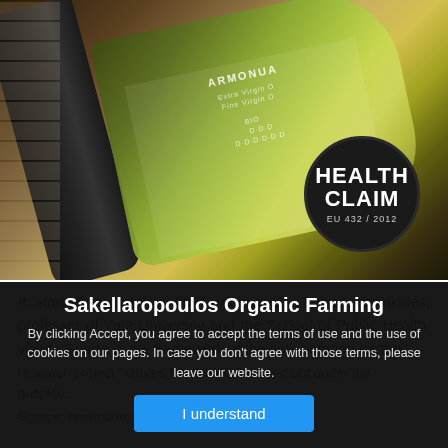[Figure (photo): Photo of olive oil bottles lying on a wicker surface. One dark bottle on the left, one green transparent bottle in the center with white label text including 'ARMONUA'. A black circular badge on the right reads 'HEALTH CLAIM EU 432 / 2012'.]
It started in October 2021, during Dr. Tassos Kyriakides, professor of Yale University and the School of Public Health, visit to Sparta in the framework of the collaboration for the research project "Olives For Health" carried out under the auspice...
Sakellaropoulos Organic Farming
By clicking Accept, you agree to accept the terms of use and the use of cookies on our pages. In case you don't agree with those terms, please leave our website.
Source: newmoney.gr ...